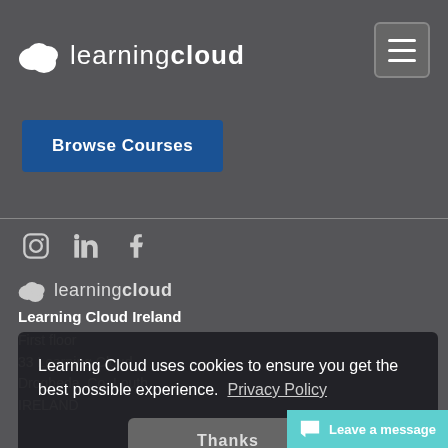[Figure (logo): Learning Cloud logo with cloud icon and text in white on dark background]
[Figure (other): Hamburger menu icon button in top right corner]
Browse Courses
[Figure (other): Social media icons: Instagram, LinkedIn, Facebook]
[Figure (logo): Learning Cloud footer logo with cloud icon]
Learning Cloud Ireland
First floor
33 Learning Cloud
Drogheda, Co. Louth
IRELAND
Learning Cloud uses cookies to ensure you get the best possible experience. Privacy Policy
Thanks
Leave a message